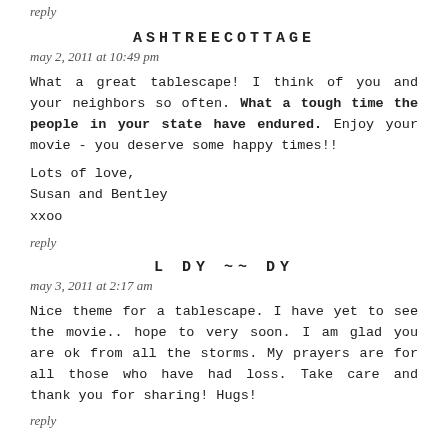reply
ASHTREECOTTAGE
may 2, 2011 at 10:49 pm
What a great tablescape! I think of you and your neighbors so often. What a tough time the people in your state have endured. Enjoy your movie - you deserve some happy times!!
Lots of love,
Susan and Bentley
xxoo
reply
L DY ~~ DY
may 3, 2011 at 2:17 am
Nice theme for a tablescape. I have yet to see the movie.. hope to very soon. I am glad you are ok from all the storms. My prayers are for all those who have had loss. Take care and thank you for sharing! Hugs!
reply